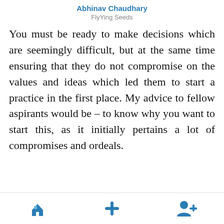Abhinav Chaudhary
FlyYing Seeds
You must be ready to make decisions which are seemingly difficult, but at the same time ensuring that they do not compromise on the values and ideas which led them to start a practice in the first place. My advice to fellow aspirants would be – to know why you want to start this, as it initially pertains a lot of compromises and ordeals.
[Figure (screenshot): Bottom navigation bar with three icons: a building/home icon on the left, a plus icon in the center, and a person-add icon on the right, all in blue on a white background.]